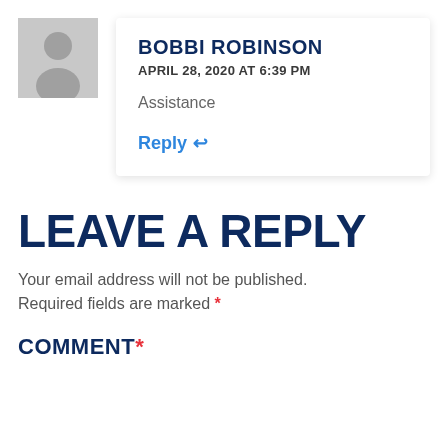[Figure (illustration): Gray placeholder avatar silhouette icon]
BOBBI ROBINSON
APRIL 28, 2020 AT 6:39 PM
Assistance
Reply ↩
LEAVE A REPLY
Your email address will not be published. Required fields are marked *
COMMENT *